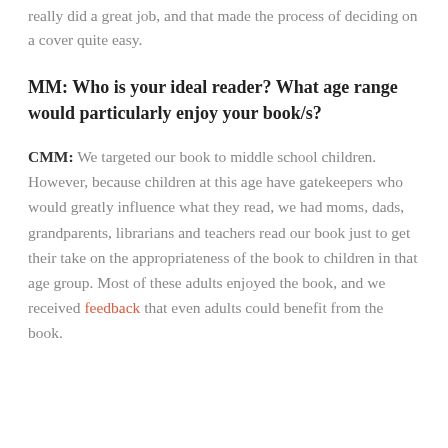really did a great job, and that made the process of deciding on a cover quite easy.
MM: Who is your ideal reader? What age range would particularly enjoy your book/s?
CMM: We targeted our book to middle school children. However, because children at this age have gatekeepers who would greatly influence what they read, we had moms, dads, grandparents, librarians and teachers read our book just to get their take on the appropriateness of the book to children in that age group. Most of these adults enjoyed the book, and we received feedback that even adults could benefit from the book.